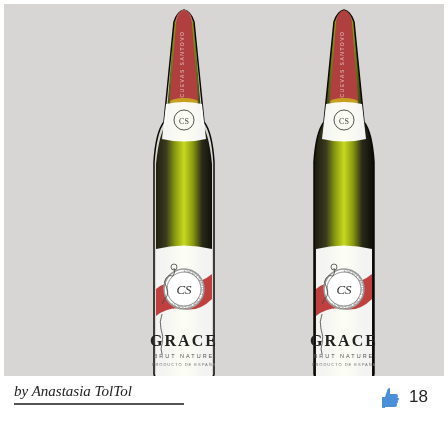[Figure (photo): Two Cuevas Santovo 'GRACE Brut Nature' sparkling wine bottles side by side, with red foil necks, white labels with a decorative female figure outline, and a circular CS logo medallion. Bottles shown on a light grey background.]
by Anastasia TolTol
18